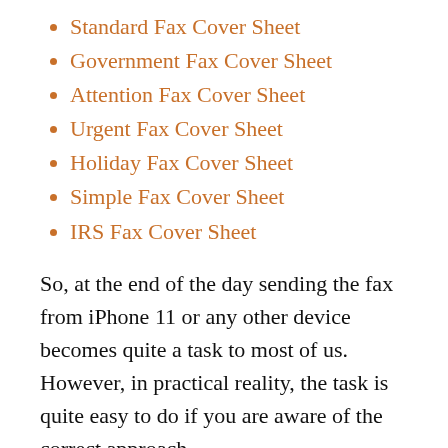Standard Fax Cover Sheet
Government Fax Cover Sheet
Attention Fax Cover Sheet
Urgent Fax Cover Sheet
Holiday Fax Cover Sheet
Simple Fax Cover Sheet
IRS Fax Cover Sheet
So, at the end of the day sending the fax from iPhone 11 or any other device becomes quite a task to most of us. However, in practical reality, the task is quite easy to do if you are aware of the correct approach.